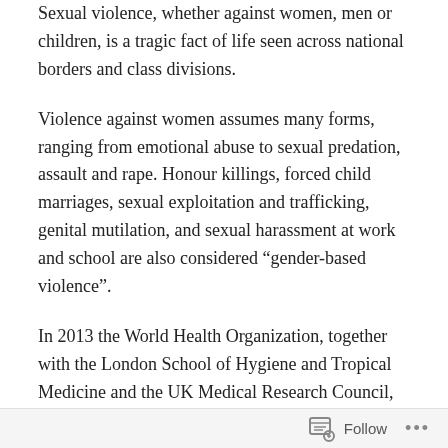Sexual violence, whether against women, men or children, is a tragic fact of life seen across national borders and class divisions.
Violence against women assumes many forms, ranging from emotional abuse to sexual predation, assault and rape. Honour killings, forced child marriages, sexual exploitation and trafficking, genital mutilation, and sexual harassment at work and school are also considered “gender-based violence”.
In 2013 the World Health Organization, together with the London School of Hygiene and Tropical Medicine and the UK Medical Research Council, conducted an analysis, based on existing data from over 80 countries, which found that worldwide almost one in three women who
Follow